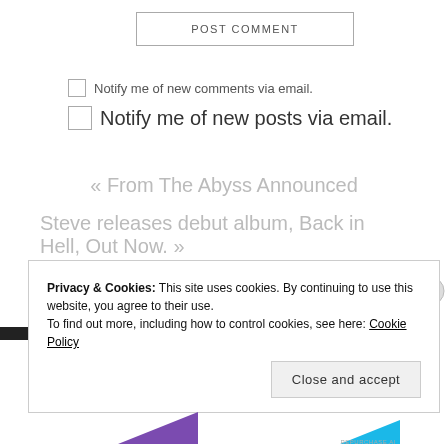POST COMMENT
Notify me of new comments via email.
Notify me of new posts via email.
« From The Abyss Announced
Steve releases debut album, Back in Hell, Out Now. »
Privacy & Cookies: This site uses cookies. By continuing to use this website, you agree to their use.
To find out more, including how to control cookies, see here: Cookie Policy
Close and accept